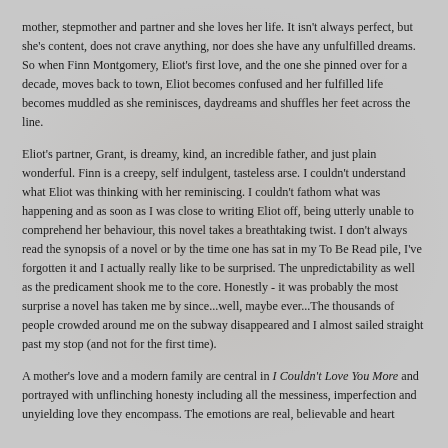mother, stepmother and partner and she loves her life. It isn't always perfect, but she's content, does not crave anything, nor does she have any unfulfilled dreams. So when Finn Montgomery, Eliot's first love, and the one she pinned over for a decade, moves back to town, Eliot becomes confused and her fulfilled life becomes muddled as she reminisces, daydreams and shuffles her feet across the line.
Eliot's partner, Grant, is dreamy, kind, an incredible father, and just plain wonderful. Finn is a creepy, self indulgent, tasteless arse. I couldn't understand what Eliot was thinking with her reminiscing. I couldn't fathom what was happening and as soon as I was close to writing Eliot off, being utterly unable to comprehend her behaviour, this novel takes a breathtaking twist. I don't always read the synopsis of a novel or by the time one has sat in my To Be Read pile, I've forgotten it and I actually really like to be surprised. The unpredictability as well as the predicament shook me to the core. Honestly - it was probably the most surprise a novel has taken me by since...well, maybe ever...The thousands of people crowded around me on the subway disappeared and I almost sailed straight past my stop (and not for the first time).
A mother's love and a modern family are central in I Couldn't Love You More and portrayed with unflinching honesty including all the messiness, imperfection and unyielding love they encompass. The emotions are real, believable and heart